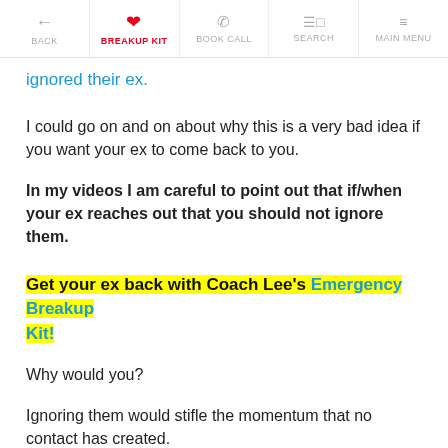BACK | BREAKUP KIT | BOOK CALL | SEARCH | MAIN MENU
ignored their ex.
I could go on and on about why this is a very bad idea if you want your ex to come back to you.
In my videos I am careful to point out that if/when your ex reaches out that you should not ignore them.
Get your ex back with Coach Lee's Emergency Breakup Kit!
Why would you?
Ignoring them would stifle the momentum that no contact has created.